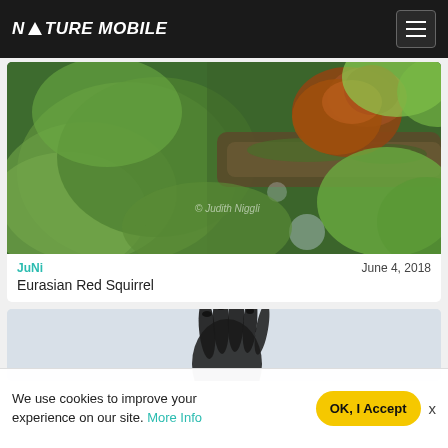NATURE MOBILE
[Figure (photo): A red squirrel partially hidden among green leaves on a tree branch. Photo credit: © Judith Niggli]
JuNi	June 4, 2018
Eurasian Red Squirrel
[Figure (photo): Partial view of a dark hand/primate against a light background]
We use cookies to improve your experience on our site. More Info
OK, I Accept
x